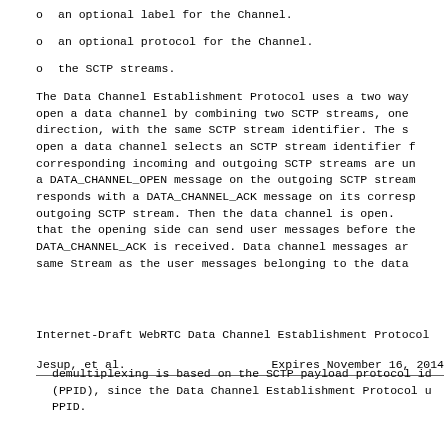o  an optional label for the Channel.
o  an optional protocol for the Channel.
o  the SCTP streams.
The Data Channel Establishment Protocol uses a two way open a data channel by combining two SCTP streams, one direction, with the same SCTP stream identifier. The s open a data channel selects an SCTP stream identifier f corresponding incoming and outgoing SCTP streams are un a DATA_CHANNEL_OPEN message on the outgoing SCTP stream responds with a DATA_CHANNEL_ACK message on its corresp outgoing SCTP stream. Then the data channel is open. that the opening side can send user messages before the DATA_CHANNEL_ACK is received. Data channel messages ar same Stream as the user messages belonging to the data
Jesup, et al.          Expires November 16, 2014
Internet-Draft WebRTC Data Channel Establishment Protocol
demultiplexing is based on the SCTP payload protocol id (PPID), since the Data Channel Establishment Protocol u PPID.